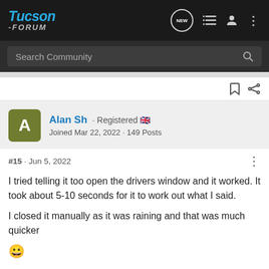Tucson -Forum
Search Community
Alan Sh · Registered 🇬🇧
Joined Mar 22, 2022 · 149 Posts
#15 · Jun 5, 2022
I tried telling it too open the drivers window and it worked. It took about 5-10 seconds for it to work out what I said.

I closed it manually as it was raining and that was much quicker 😀
[Figure (screenshot): Nitto advertisement banner: All-New Nomad Grappler Crossover-Terrain Tire]